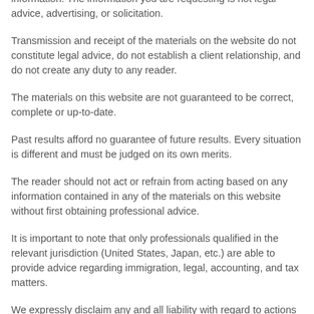information. The information you are requesting is not legal advice, advertising, or solicitation.
Transmission and receipt of the materials on the website do not constitute legal advice, do not establish a client relationship, and do not create any duty to any reader.
The materials on this website are not guaranteed to be correct, complete or up-to-date.
Past results afford no guarantee of future results. Every situation is different and must be judged on its own merits.
The reader should not act or refrain from acting based on any information contained in any of the materials on this website without first obtaining professional advice.
It is important to note that only professionals qualified in the relevant jurisdiction (United States, Japan, etc.) are able to provide advice regarding immigration, legal, accounting, and tax matters.
We expressly disclaim any and all liability with regard to actions taken or not taken based upon the content of this website.
Not advertising